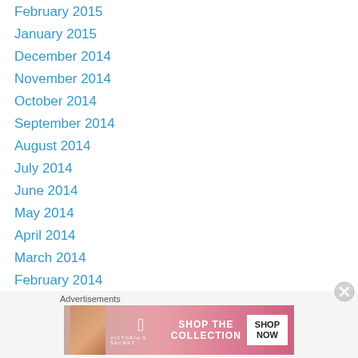February 2015
January 2015
December 2014
November 2014
October 2014
September 2014
August 2014
July 2014
June 2014
May 2014
April 2014
March 2014
February 2014
January 2014
December 2013
November 2013
[Figure (infographic): Victoria's Secret advertisement banner showing a model, VS logo, 'SHOP THE COLLECTION' text, and 'SHOP NOW' button on a pink gradient background]
Advertisements